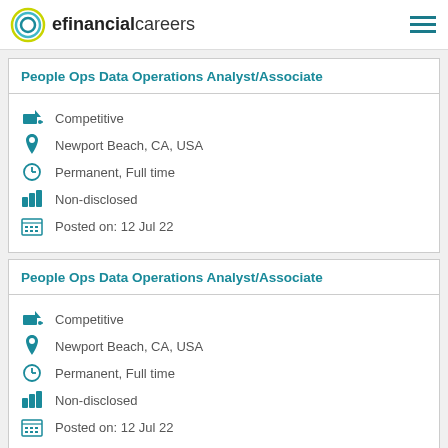efinancialcareers
People Ops Data Operations Analyst/Associate
Competitive
Newport Beach, CA, USA
Permanent, Full time
Non-disclosed
Posted on:  12 Jul 22
People Ops Data Operations Analyst/Associate
Competitive
Newport Beach, CA, USA
Permanent, Full time
Non-disclosed
Posted on:  12 Jul 22